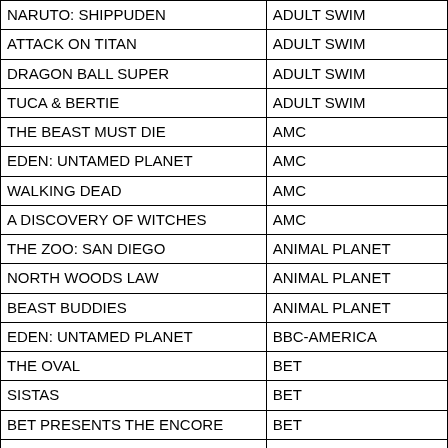| NARUTO: SHIPPUDEN | ADULT SWIM |
| ATTACK ON TITAN | ADULT SWIM |
| DRAGON BALL SUPER | ADULT SWIM |
| TUCA & BERTIE | ADULT SWIM |
| THE BEAST MUST DIE | AMC |
| EDEN: UNTAMED PLANET | AMC |
| WALKING DEAD | AMC |
| A DISCOVERY OF WITCHES | AMC |
| THE ZOO: SAN DIEGO | ANIMAL PLANET |
| NORTH WOODS LAW | ANIMAL PLANET |
| BEAST BUDDIES | ANIMAL PLANET |
| EDEN: UNTAMED PLANET | BBC-AMERICA |
| THE OVAL | BET |
| SISTAS | BET |
| BET PRESENTS THE ENCORE | BET |
| THE OVAL | BET HER |
| SISTAS | BET HER |
| BET PRESENTS THE ENCORE | BET HER |
| GRIZZY & THE LEMMINGS | BOOMERANG |
| GRIZZY & THE LEMMINGS | BOOMERANG |